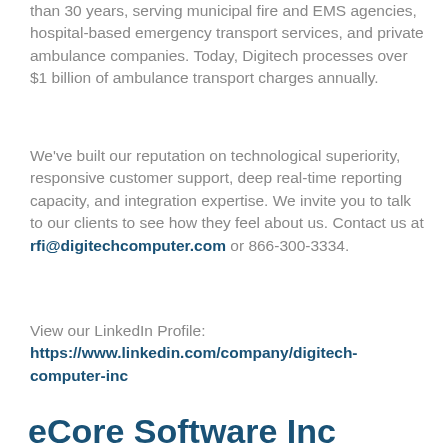than 30 years, serving municipal fire and EMS agencies, hospital-based emergency transport services, and private ambulance companies. Today, Digitech processes over $1 billion of ambulance transport charges annually.
We've built our reputation on technological superiority, responsive customer support, deep real-time reporting capacity, and integration expertise. We invite you to talk to our clients to see how they feel about us. Contact us at rfi@digitechcomputer.com or 866-300-3334.
View our LinkedIn Profile: https://www.linkedin.com/company/digitech-computer-inc
eCore Software Inc